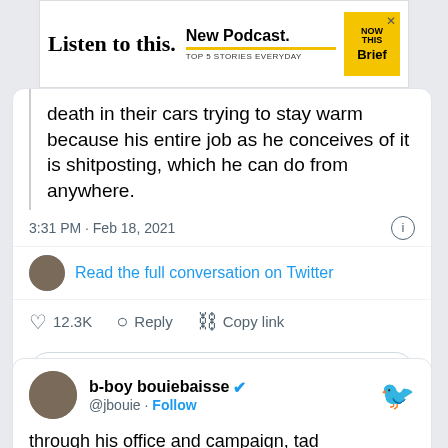[Figure (screenshot): NowThis Brief advertisement banner: 'Listen to this. New Podcast. TOP 5 STORIES EVERYDAY' with yellow NowThis Brief branding]
death in their cars trying to stay warm because his entire job as he conceives of it is shitposting, which he can do from anywhere.
3:31 PM · Feb 18, 2021
Read the full conversation on Twitter
12.3K  Reply  Copy link
Read 141 replies
b-boy bouiebaisse @jbouie · Follow
through his office and campaign, tad